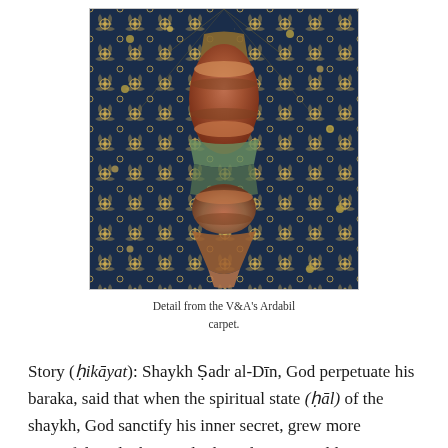[Figure (photo): Detail from the V&A's Ardabil carpet — a dark navy blue Persian carpet with dense floral arabesque patterns in tan/gold and a central vase/medallion motif in terracotta and teal tones.]
Detail from the V&A's Ardabil carpet.
Story (ḥikāyat): Shaykh Ṣadr al-Dīn, God perpetuate his baraka, said that when the spiritual state (ḥāl) of the shaykh, God sanctify his inner secret, grew more powerful, and when exalted conditions would occur